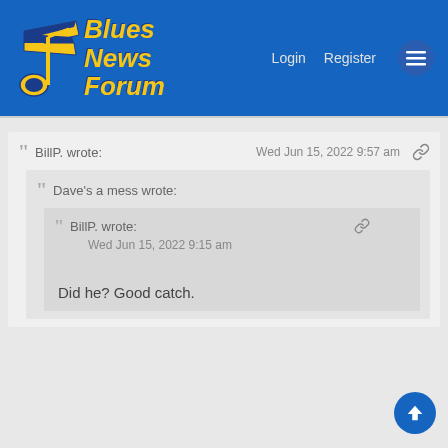Blues News Forum — Login Register
BillP. wrote:  Wed Jun 15, 2022 9:57 am
Dave's a mess wrote:
BillP. wrote:  Wed Jun 15, 2022 9:15 am
Did he? Good catch.